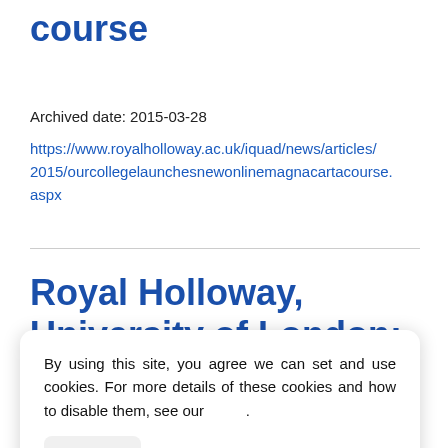course
Archived date: 2015-03-28
https://www.royalholloway.ac.uk/iquad/news/articles/2015/ourcollegelaunchesnewonlinemagnacartacourse.aspx
Royal Holloway, University of London:
By using this site, you agree we can set and use cookies. For more details of these cookies and how to disable them, see our .
OK
anyonea ae Royal